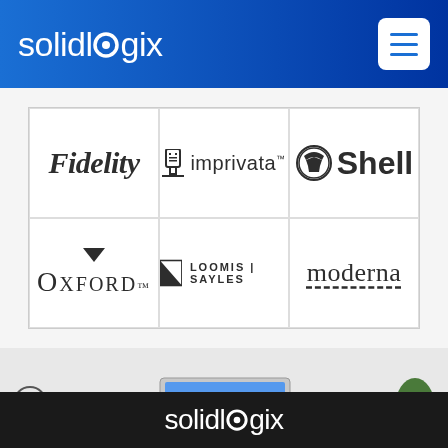[Figure (logo): Solidlogix logo in white text on blue gradient header background, with hamburger menu icon on the right]
[Figure (logo): Grid of 6 client logos: Fidelity, imprivata, Shell, Oxford, Loomis Sayles, moderna]
[Figure (photo): Flat-lay desk scene with laptop, coffee cup, notebook, phone, earphones, glasses, pens, and a succulent plant]
[Figure (logo): Solidlogix logo in white text on dark/black footer background]